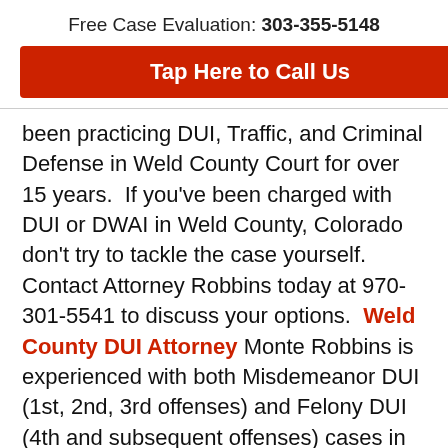Free Case Evaluation: 303-355-5148
Tap Here to Call Us
been practicing DUI, Traffic, and Criminal Defense in Weld County Court for over 15 years.  If you've been charged with DUI or DWAI in Weld County, Colorado don't try to tackle the case yourself.  Contact Attorney Robbins today at 970-301-5541 to discuss your options.  Weld County DUI Attorney Monte Robbins is experienced with both Misdemeanor DUI (1st, 2nd, 3rd offenses) and Felony DUI (4th and subsequent offenses) cases in Weld County Court.   His Greeley office is conveniently located 1 block from the Weld County Courthouse at 710 11th Avenue,